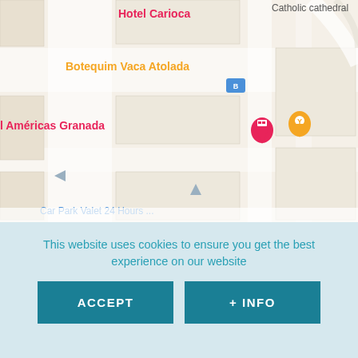[Figure (map): Google Maps screenshot showing area near Metropolitan Cathedral of São Sebastião in Lapa district, Rio de Janeiro. Visible labels include Hotel Carioca (pink), Botequim Vaca Atolada (orange), l Américas Granada with hotel icon, a bar/restaurant icon, Catholic cathedral label, and street label R. do La.]
No, do not look away. You are not at the wrong place, but right in front of the Metropolitan Cathedral of São Sebastião. In fact, this colossal monument opened in 1976, in the centre of the Lapa district, and is anything but the typical stereotype of European cathedral.
Built in honour of Saint Sebastian, the patron saint of Rio de
This website uses cookies to ensure you get the best experience on our website
ACCEPT
+ INFO